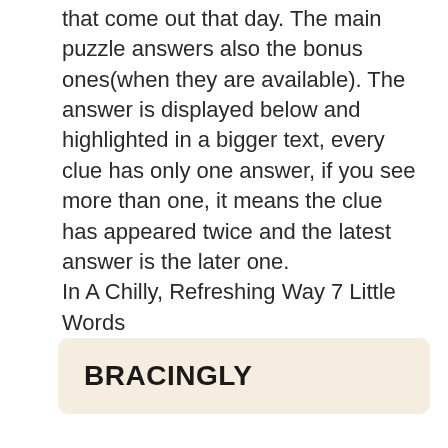that come out that day. The main puzzle answers also the bonus ones(when they are available). The answer is displayed below and highlighted in a bigger text, every clue has only one answer, if you see more than one, it means the clue has appeared twice and the latest answer is the later one.
In A Chilly, Refreshing Way 7 Little Words
BRACINGLY